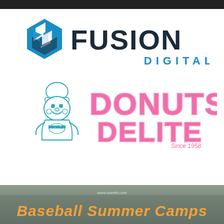[Figure (logo): Fusion Digital logo with blue hexagonal icon and dark text 'FUSION DIGITAL']
[Figure (logo): Donuts Delite logo with teal chef character and pink bubble text 'Donuts Delite Since 1958']
[Figure (photo): Baseball Summer Camps promotional banner with orange italic text on outdoor/field background, url www.icanhit.com]